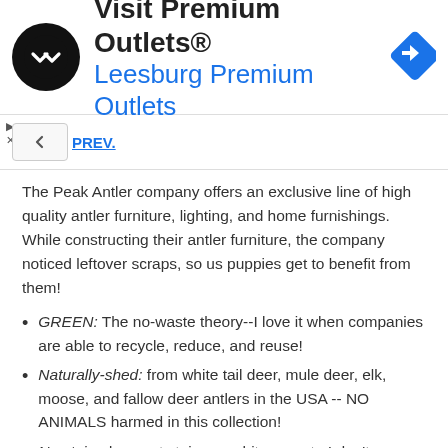[Figure (other): Advertisement banner for Visit Premium Outlets® / Leesburg Premium Outlets with black circular logo and blue diamond arrow icon]
PREV.
The Peak Antler company offers an exclusive line of high quality antler furniture, lighting, and home furnishings. While constructing their antler furniture, the company noticed leftover scraps, so us puppies get to benefit from them!
GREEN: The no-waste theory--I love it when companies are able to recycle, reduce, and reuse!
Naturally-shed: from white tail deer, mule deer, elk, moose, and fallow deer antlers in the USA -- NO ANIMALS harmed in this collection!
No stain: does not stain our white carpet.  I don't care much about this but my sapiens seem to.
Oral Hygiene: cleans my teeth the fun way! As